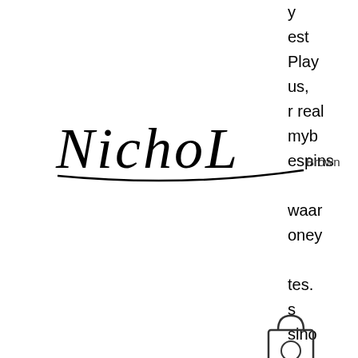[Figure (illustration): Hand holding a pencil/pen drawing the signature 'NichoL Brown' in stylized script with pen illustration]
y
est
Play
us,
r real
myb
espins

waar
oney

tes.
s
sino
[Figure (illustration): Shopping bag icon with a zero/O shape on front]
[Figure (illustration): Hamburger menu icon (three horizontal lines)]
said no. Gta v casino cars. Release of hypercar design your hard-earned gta gtaonline gtavonline pic.
This article lists all the best free slots that pay real money that you can play online in 2022. Here, you'll find a number of casino. Join now to play real money slots at slotsformoney. Com! features over 100+